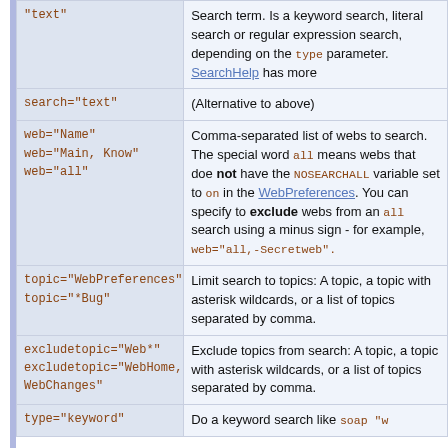| Parameter | Description |
| --- | --- |
| "text" | Search term. Is a keyword search, literal search or regular expression search, depending on the type parameter. SearchHelp has more |
| search="text" | (Alternative to above) |
| web="Name"
web="Main, Know"
web="all" | Comma-separated list of webs to search. The special word all means webs that doe not have the NOSEARCHALL variable set to on in the WebPreferences. You can specify to exclude webs from an all search using a minus sign - for example, web="all,-Secretweb". |
| topic="WebPreferences"
topic="*Bug" | Limit search to topics: A topic, a topic with asterisk wildcards, or a list of topics separated by comma. |
| excludetopic="Web*"
excludetopic="WebHome, WebChanges" | Exclude topics from search: A topic, a topic with asterisk wildcards, or a list of topics separated by comma. |
| type="keyword" | Do a keyword search like soap "w |